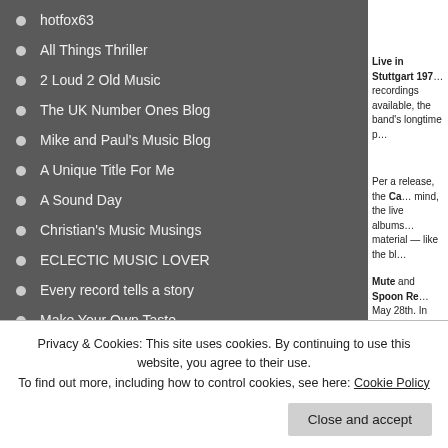hotfox63
All Things Thriller
2 Loud 2 Old Music
The UK Number Ones Blog
Mike and Paul's Music Blog
A Unique Title For Me
A Sound Day
Christian's Music Musings
ECLECTIC MUSIC LOVER
Every record tells a story
Make Your Own Taste
Martin Crookall - Author For Sale
The Music Aficionado
J. ERIC SMITH
THE PRESS Music Review
Live in Stuttgart 197... recordings available, the band's longtime p...
Per a release, the Ca... mind, the live albums... material — like the bl...
Mute and Spoon Re... May 28th. In addition...
[Figure (screenshot): Partial image of orange icon with 'Can' text on dark background]
Privacy & Cookies: This site uses cookies. By continuing to use this website, you agree to their use. To find out more, including how to control cookies, see here: Cookie Policy
Close and accept